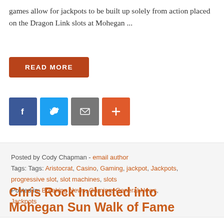games allow for jackpots to be built up solely from action placed on the Dragon Link slots at Mohegan ...
READ MORE
[Figure (other): Social share buttons: Facebook (blue), Twitter (light blue), Email (gray), Plus/More (orange-red)]
Posted by Cody Chapman - email author
Tags: Tags: Aristocrat, Casino, Gaming, jackpot, Jackpots, progressive slot, slot machines, slots
Posted in: Breaking News, Gaming, General News, Jackpots
Chris Rock Inducted into Mohegan Sun Walk of Fame